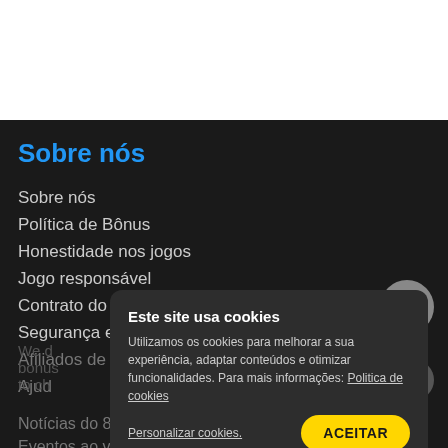Sobre nós
Sobre nós
Política de Bônus
Honestidade nos jogos
Jogo responsável
Contrato do Usuário
Segurança e Privacidade
Afiliados de 888
Ajuda
We d bonus to ch
Este site usa cookies
Utilizamos os cookies para melhorar a sua experiência, adaptar conteúdos e otimizar funcionalidades. Para mais informações: Politica de cookies
Personalizar cookies.
ACEITAR
Notícias do 888
Eventos ao vivo